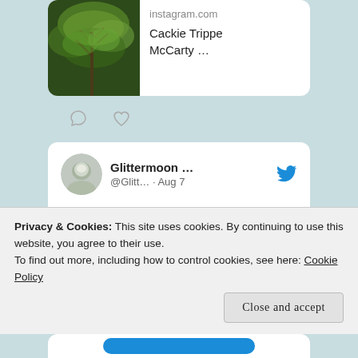[Figure (screenshot): Instagram link card with tree photo thumbnail, showing 'instagram.com' and 'Cackie Trippe McCarty …']
[Figure (screenshot): Comment and heart (like) icons below top card]
[Figure (screenshot): Tweet card from Glittermoon... (@Glitt... · Aug 7) with Twitter bird icon, text 'Just posted a photo @ Laburnum Park Historic District instagram.com/p/Cg9prabOybN/…' and partial image preview]
Privacy & Cookies: This site uses cookies. By continuing to use this website, you agree to their use.
To find out more, including how to control cookies, see here: Cookie Policy
Close and accept